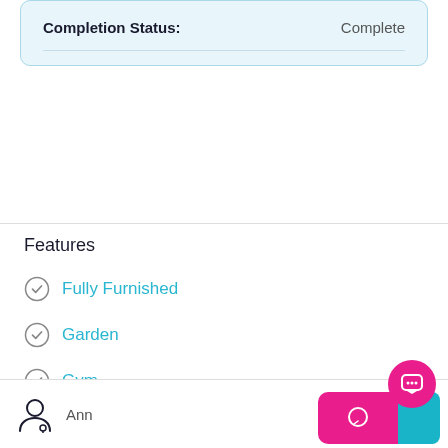| Completion Status: | Complete |
| --- | --- |
Features
Fully Furnished
Garden
Gym
Ann